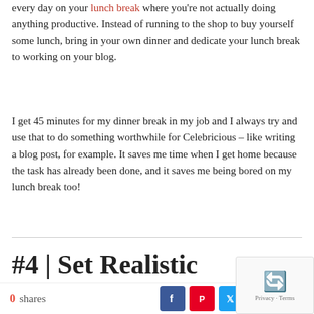every day on your lunch break where you're not actually doing anything productive. Instead of running to the shop to buy yourself some lunch, bring in your own dinner and dedicate your lunch break to working on your blog.
I get 45 minutes for my dinner break in my job and I always try and use that to do something worthwhile for Celebricious – like writing a blog post, for example. It saves me time when I get home because the task has already been done, and it saves me being bored on my lunch break too!
#4 | Set Realistic
0 shares